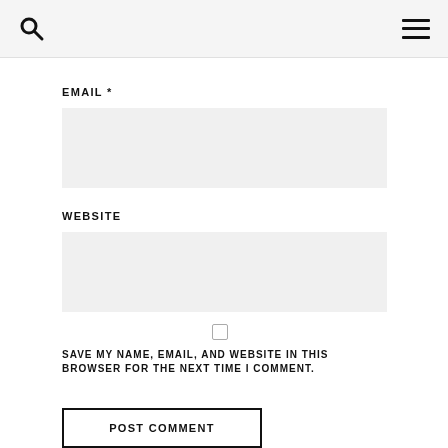EMAIL *
WEBSITE
SAVE MY NAME, EMAIL, AND WEBSITE IN THIS BROWSER FOR THE NEXT TIME I COMMENT.
POST COMMENT